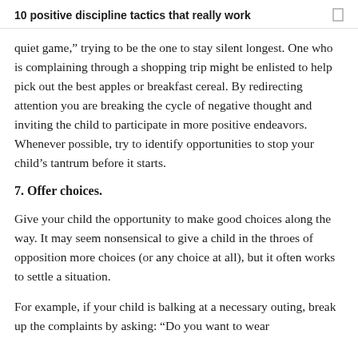10 positive discipline tactics that really work
quiet game,” trying to be the one to stay silent longest. One who is complaining through a shopping trip might be enlisted to help pick out the best apples or breakfast cereal. By redirecting attention you are breaking the cycle of negative thought and inviting the child to participate in more positive endeavors. Whenever possible, try to identify opportunities to stop your child’s tantrum before it starts.
7. Offer choices.
Give your child the opportunity to make good choices along the way. It may seem nonsensical to give a child in the throes of opposition more choices (or any choice at all), but it often works to settle a situation.
For example, if your child is balking at a necessary outing, break up the complaints by asking: “Do you want to wear